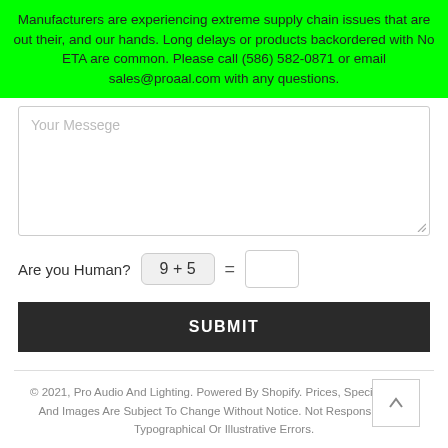Manufacturers are experiencing extreme supply chain issues that are out their, and our hands. Long delays or products backordered with No ETA are common. Please call (586) 582-0871 or email sales@proaal.com with any questions.
[Figure (screenshot): A web contact form with a message textarea showing placeholder text 'Your Messege', a CAPTCHA row with '9 + 5 =' and an empty answer box, and a dark SUBMIT button.]
© 2021, Pro Audio And Lighting. Powered By Shopify. Prices, Specifications, And Images Are Subject To Change Without Notice. Not Responsible For Typographical Or Illustrative Errors.